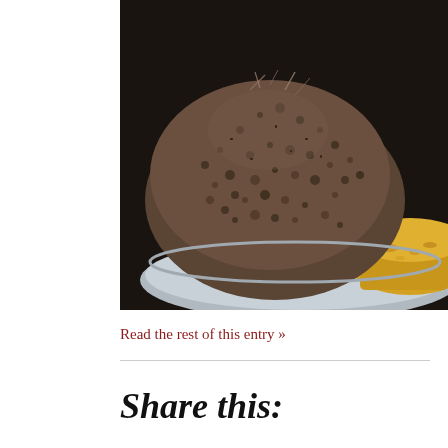[Figure (photo): Close-up photo of a round, textured dark bread or steamed food item (likely ragi idli) on a silver plate with yellow dal/sambar sauce visible on the right side. Dark background.]
Read the rest of this entry »
Share this: